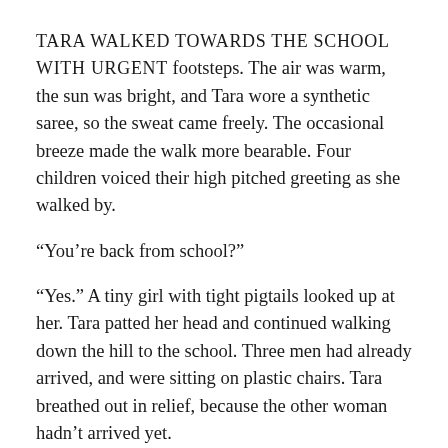Tara walked towards the school with urgent footsteps. The air was warm, the sun was bright, and Tara wore a synthetic saree, so the sweat came freely. The occasional breeze made the walk more bearable. Four children voiced their high pitched greeting as she walked by.
“You’re back from school?”
“Yes.” A tiny girl with tight pigtails looked up at her. Tara patted her head and continued walking down the hill to the school. Three men had already arrived, and were sitting on plastic chairs. Tara breathed out in relief, because the other woman hadn’t arrived yet.
When the other woman finally arrived, Tara and the men in chairs stood up to greet her. This other woman